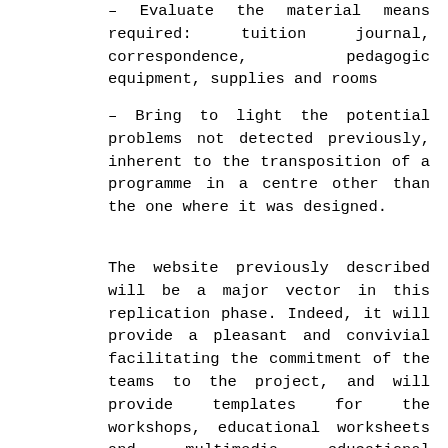– Evaluate the material means required: tuition journal, correspondence, pedagogic equipment, supplies and rooms
– Bring to light the potential problems not detected previously, inherent to the transposition of a programme in a centre other than the one where it was designed.
The website previously described will be a major vector in this replication phase. Indeed, it will provide a pleasant and convivial facilitating the commitment of the teams to the project, and will provide templates for the workshops, educational worksheets and multimedia educational supports in a simple and effective manner. It will also allow the local doctors of these new centres to have rapidly the database and information prepared previously.